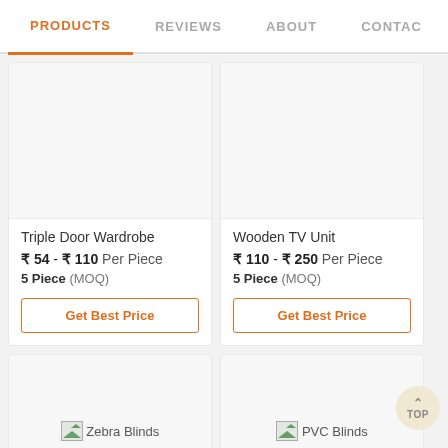PRODUCTS | REVIEWS | ABOUT | CONTACT
Triple Door Wardrobe
₹ 54 - ₹ 110 Per Piece
5 Piece (MOQ)
Get Best Price
Wooden TV Unit
₹ 110 - ₹ 250 Per Piece
5 Piece (MOQ)
Get Best Price
[Figure (photo): Product image placeholder for Zebra Blinds]
[Figure (photo): Product image placeholder for PVC Blinds]